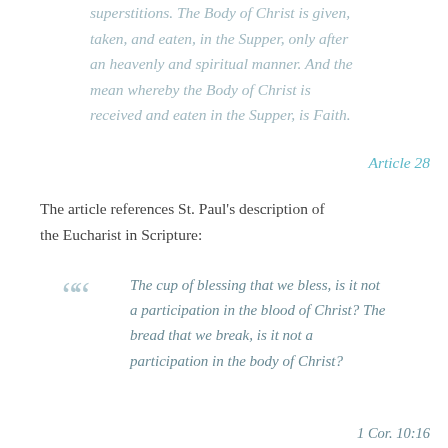superstitions. The Body of Christ is given, taken, and eaten, in the Supper, only after an heavenly and spiritual manner. And the mean whereby the Body of Christ is received and eaten in the Supper, is Faith.
Article 28
The article references St. Paul's description of the Eucharist in Scripture:
The cup of blessing that we bless, is it not a participation in the blood of Christ? The bread that we break, is it not a participation in the body of Christ?
1 Cor. 10:16